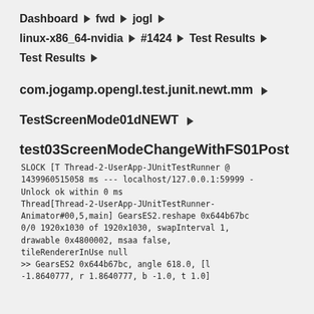Dashboard ▶ fwd ▶ jogl ▶
linux-x86_64-nvidia ▶ #1424 ▶ Test Results ▶
Test Results ▶
com.jogamp.opengl.test.junit.newt.mm ▶
TestScreenMode01dNEWT ▶
test03ScreenModeChangeWithFS01Post
SLOCK [T Thread-2-UserApp-JUnitTestRunner @ 1439960515058 ms --- localhost/127.0.0.1:59999 - Unlock ok within 0 ms Thread[Thread-2-UserApp-JUnitTestRunner-Animator#00,5,main] GearsES2.reshape 0x644b67bc 0/0 1920x1030 of 1920x1030, swapInterval 1, drawable 0x4800002, msaa false, tileRendererInUse null >> GearsES2 0x644b67bc, angle 618.0, [l -1.8640777, r 1.8640777, b -1.0, t 1.0]